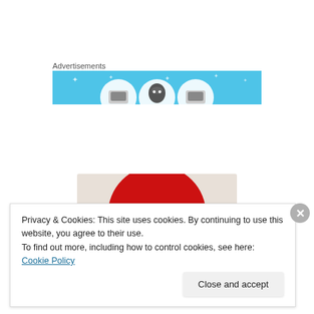Advertisements
[Figure (illustration): Blue advertisement banner with rounded circular device/robot icons on a sky-blue background with small sparkle/star decorations]
[Figure (logo): rivero2016.com red semicircle logo on a light grey/beige background]
Privacy & Cookies: This site uses cookies. By continuing to use this website, you agree to their use.
To find out more, including how to control cookies, see here: Cookie Policy
Close and accept